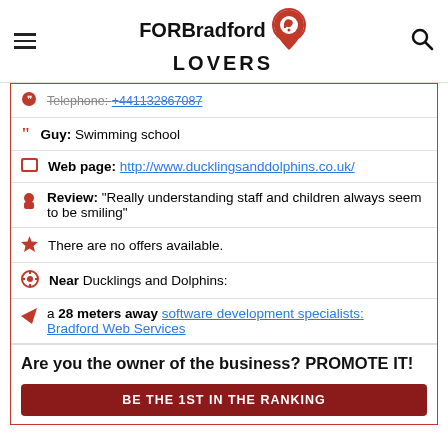FOR Bradford LOVERS
Telephone: +441132867087
Guy: Swimming school
Web page: http://www.ducklingsanddolphins.co.uk/
Review: "Really understanding staff and children always seem to be smiling"
There are no offers available.
Near Ducklings and Dolphins:
a 28 meters away software development specialists: Bradford Web Services
Are you the owner of the business? PROMOTE IT!
BE THE 1ST IN THE RANKING